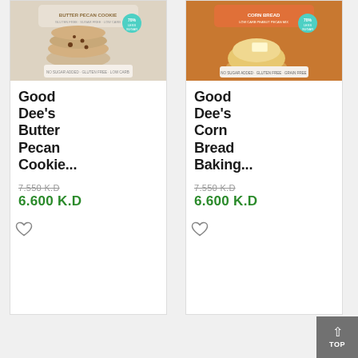[Figure (photo): Product card for Good Dee's Butter Pecan Cookie baking mix with product image at top and pricing]
Good Dee’s Butter Pecan Cookie...
7.550 K.D (strikethrough), 6.600 K.D
[Figure (photo): Product card for Good Dee's Corn Bread Baking mix with product image at top and pricing]
Good Dee’s Corn Bread Baking...
7.550 K.D (strikethrough), 6.600 K.D